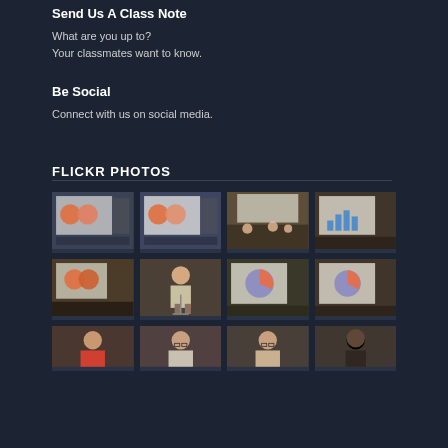Send Us A Class Note
What are you up to?
Your classmates want to know.
Be Social
Connect with us on social media.
FLICKR PHOTOS
[Figure (photo): Grid of 12 photos from a Flickr photostream showing presentation slides with pie charts, lecture hall audience, a speaker at a podium, and close-up shots of charts/data visualizations, plus photos of a woman speaker and another individual.]